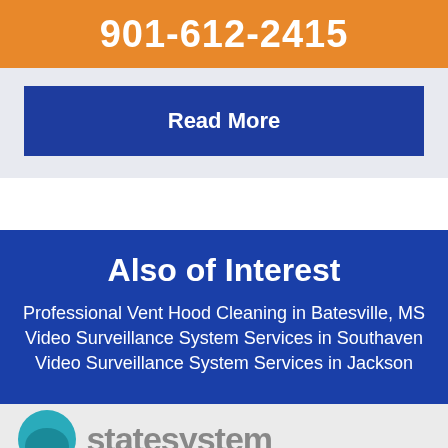901-612-2415
Read More
Also of Interest
Professional Vent Hood Cleaning in Batesville, MS
Video Surveillance System Services in Southaven
Video Surveillance System Services in Jackson
[Figure (logo): Company logo with teal circle and gray text partially visible at bottom of page]